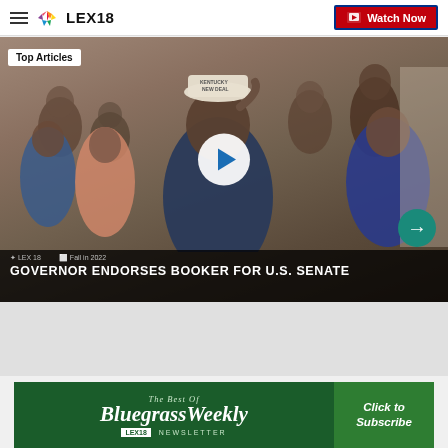LEX18 | Watch Now
[Figure (screenshot): News video thumbnail showing a man in a 'Kentucky New Deal' hat adjusting his cap, surrounded by people in a church-like setting. Overlay text reads 'GOVERNOR ENDORSES BOOKER FOR U.S. SENATE'. A play button is visible in the center. A 'Top Articles' badge appears top-left.]
It's unclear why she lost control of the car, but a witness said the driver slumped over behind the wheel
[Figure (infographic): Bluegrass Weekly newsletter banner. Green background with 'The Best Of Bluegrass Weekly Newsletter' text and 'Click to Subscribe' button on the right. LEX18 logo at bottom left.]